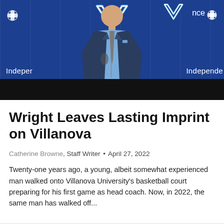[Figure (photo): A man in a navy plaid suit and light blue shirt with a grey tie stands at a press conference podium with a microphone, in front of a blue Villanova University banner showing 'Independence' branding and the Villanova V logo.]
Wright Leaves Lasting Imprint on Villanova
Catherine Browne, Staff Writer • April 27, 2022
Twenty-one years ago, a young, albeit somewhat experienced man walked onto Villanova University's basketball court preparing for his first game as head coach. Now, in 2022, the same man has walked off...